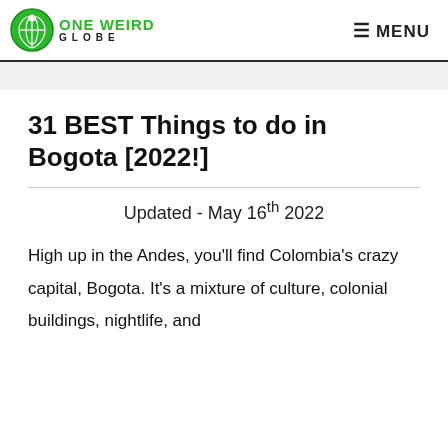ONE WEIRD GLOBE — MENU
31 BEST Things to do in Bogota [2022!]
Updated - May 16th 2022
High up in the Andes, you'll find Colombia's crazy capital, Bogota. It's a mixture of culture, colonial buildings, nightlife, and